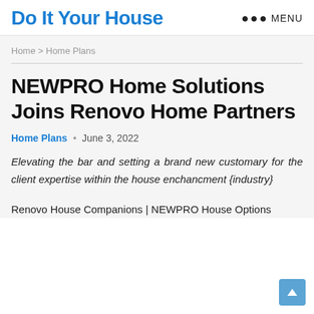Do It Your House
Home > Home Plans
NEWPRO Home Solutions Joins Renovo Home Partners
Home Plans · June 3, 2022
Elevating the bar and setting a brand new customary for the client expertise within the house enchancment {industry}
Renovo House Companions | NEWPRO House Options